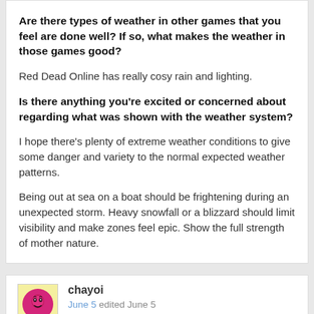Are there types of weather in other games that you feel are done well? If so, what makes the weather in those games good?
Red Dead Online has really cosy rain and lighting.
Is there anything you're excited or concerned about regarding what was shown with the weather system?
I hope there's plenty of extreme weather conditions to give some danger and variety to the normal expected weather patterns.
Being out at sea on a boat should be frightening during an unexpected storm. Heavy snowfall or a blizzard should limit visibility and make zones feel epic. Show the full strength of mother nature.
chayoi
June 5 edited June 5